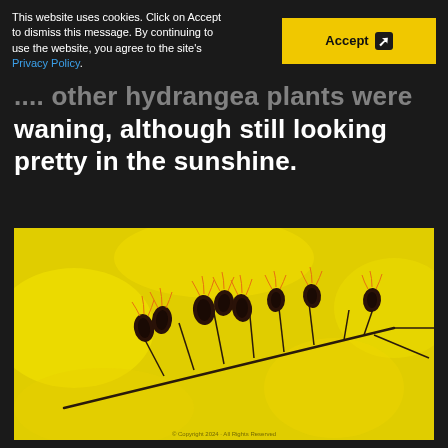This website uses cookies. Click on Accept to dismiss this message. By continuing to use the website, you agree to the site's Privacy Policy.
... other hydrangea plants were waning, although still looking pretty in the sunshine.
[Figure (photo): Close-up macro photograph of dried dark brown/black seed pods on a bare branch against a vivid yellow background (bokeh). The seed pods appear to be spent hydrangea flower heads, small and clustered, with thin wispy dried petals. The branch is thin and bare.]